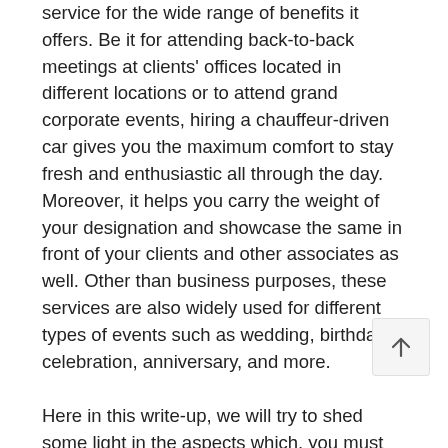service for the wide range of benefits it offers. Be it for attending back-to-back meetings at clients' offices located in different locations or to attend grand corporate events, hiring a chauffeur-driven car gives you the maximum comfort to stay fresh and enthusiastic all through the day. Moreover, it helps you carry the weight of your designation and showcase the same in front of your clients and other associates as well. Other than business purposes, these services are also widely used for different types of events such as wedding, birthday celebration, anniversary, and more.
Here in this write-up, we will try to shed some light in the aspects which, you must know to ensure of hiring the most efficient chauffeur service provider.
Prioritize your needs at first